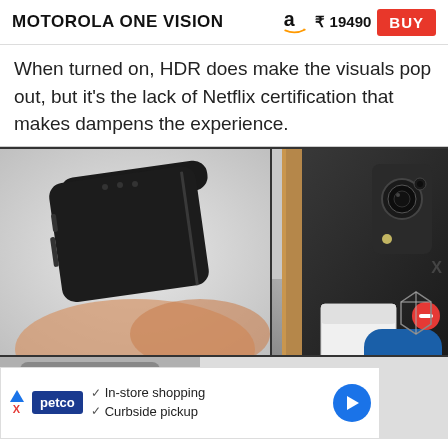MOTOROLA ONE VISION  ₹ 19490  BUY
When turned on, HDR does make the visuals pop out, but it's the lack of Netflix certification that makes dampens the experience.
[Figure (photo): Two side-by-side photos of the Motorola One Vision phone — left shows the phone's side/edge held in a hand, right shows the phone's corner with camera module]
[Figure (screenshot): Partial view of an advertisement banner at the bottom featuring Petco logo with in-store shopping and curbside pickup text, and an app icon overlay]